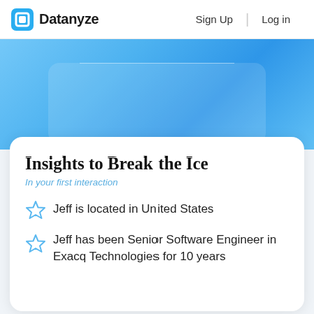Datanyze  Sign Up  Log in
[Figure (illustration): Blue gradient rounded rectangle hero/card area at top of page]
Insights to Break the Ice
In your first interaction
Jeff is located in United States
Jeff has been Senior Software Engineer in Exacq Technologies for 10 years